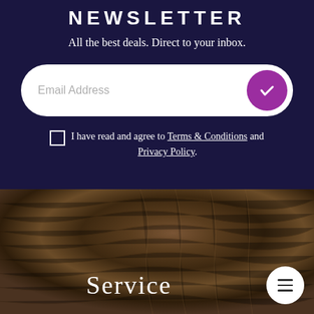NEWSLETTER
All the best deals. Direct to your inbox.
[Figure (screenshot): Email address input field with white rounded pill shape and purple circular submit button with checkmark on the right]
I have read and agree to Terms & Conditions and Privacy Policy.
[Figure (photo): Close-up photograph of dark brown animal fur texture, with Service text overlay at bottom center and white circular hamburger menu button at bottom right]